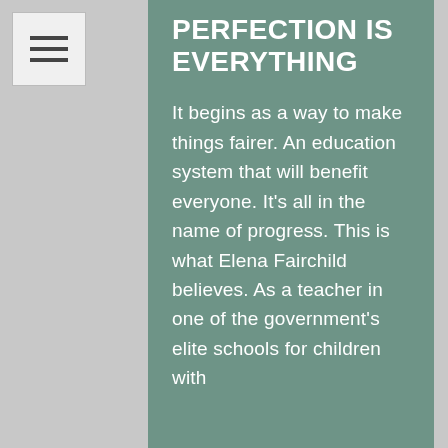PERFECTION IS EVERYTHING
It begins as a way to make things fairer. An education system that will benefit everyone. It's all in the name of progress. This is what Elena Fairchild believes. As a teacher in one of the government's elite schools for children with